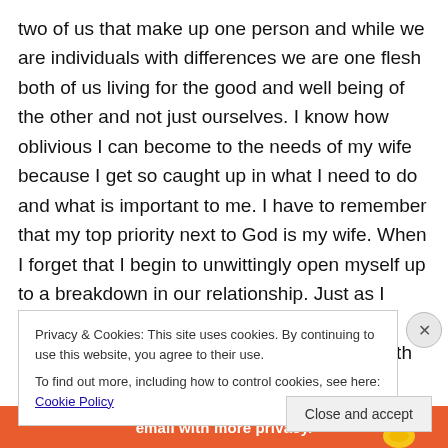two of us that make up one person and while we are individuals with differences we are one flesh both of us living for the good and well being of the other and not just ourselves. I know how oblivious I can become to the needs of my wife because I get so caught up in what I need to do and what is important to me. I have to remember that my top priority next to God is my wife. When I forget that I begin to unwittingly open myself up to a breakdown in our relationship. Just as I must cultivate and spend quality time in my relationship with the Lord, I can do no less with my spouse.
Privacy & Cookies: This site uses cookies. By continuing to use this website, you agree to their use.
To find out more, including how to control cookies, see here: Cookie Policy
Close and accept
[Figure (infographic): Orange ad banner at bottom with text 'email with more privacy.' and a duck logo on the right]